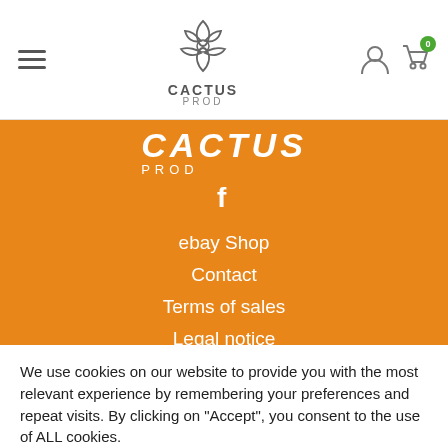[Figure (logo): Cactus Prod logo with stylized cactus/lotus icon and text CACTUS PROD in header]
[Figure (logo): CACTUS PROD text logo on orange background]
[Figure (illustration): Facebook icon (f) on orange background]
ebay Shop
Contact
Terms of sales
Legal notice
Agenda
We use cookies on our website to provide you with the most relevant experience by remembering your preferences and repeat visits. By clicking on "Accept", you consent to the use of ALL cookies.
Settings
Accept